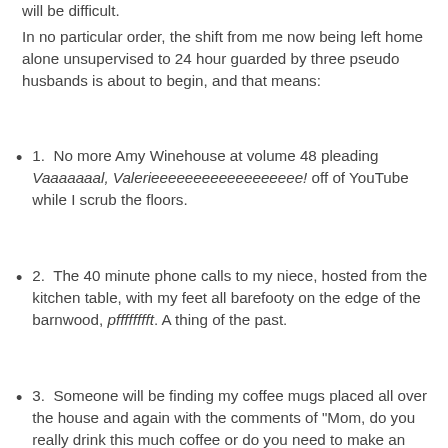will be difficult.
In no particular order, the shift from me now being left home alone unsupervised to 24 hour guarded by three pseudo husbands is about to begin, and that means:
1.  No more Amy Winehouse at volume 48 pleading Vaaaaaaal, Valerieeeeeeeeeeeeeeeeee! off of YouTube while I scrub the floors.
2.  The 40 minute phone calls to my niece, hosted from the kitchen table, with my feet all barefooty on the edge of the barnwood, pfffffffft. A thing of the past.
3.  Someone will be finding my coffee mugs placed all over the house and again with the comments of "Mom, do you really drink this much coffee or do you need to make an early